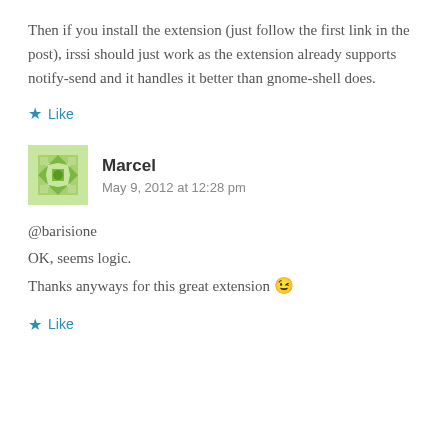Then if you install the extension (just follow the first link in the post), irssi should just work as the extension already supports notify-send and it handles it better than gnome-shell does.
★ Like
Marcel
May 9, 2012 at 12:28 pm
@barisione
OK, seems logic.
Thanks anyways for this great extension 😉
★ Like